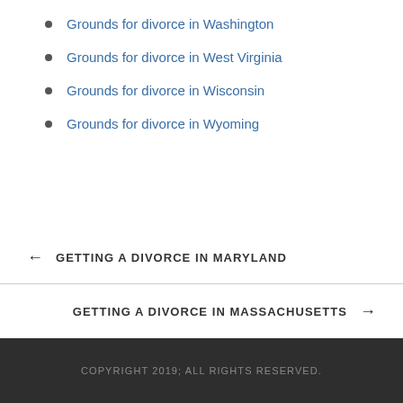Grounds for divorce in Washington
Grounds for divorce in West Virginia
Grounds for divorce in Wisconsin
Grounds for divorce in Wyoming
← GETTING A DIVORCE IN MARYLAND
GETTING A DIVORCE IN MASSACHUSETTS →
COPYRIGHT 2019; ALL RIGHTS RESERVED.